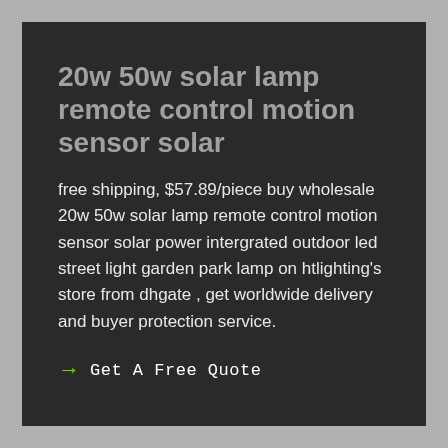20w 50w solar lamp remote control motion sensor solar
free shipping, $57.89/piece buy wholesale 20w 50w solar lamp remote control motion sensor solar power intergrated outdoor led street light garden park lamp on htlighting's store from dhgate , get worldwide delivery and buyer protection service.
→ Get A Free Quote